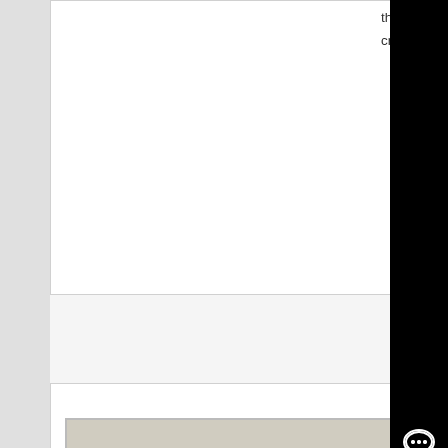the and other crusher the ....
Know More
[Figure (photo): Aerial/elevated view of a stone crushing or mining site with conveyor belts and rubble]
Raymond Working Principle Drawing - bluegrass
raymond mill working principle and drawing Stone Crusher raymond mill working principle drawing John Stu